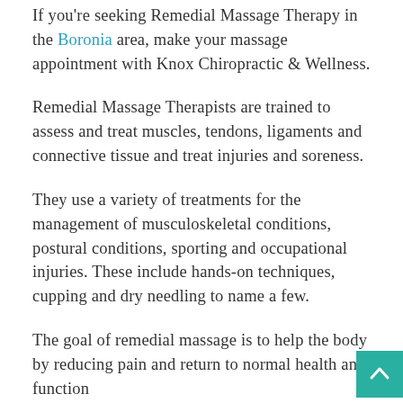If you're seeking Remedial Massage Therapy in the Boronia area, make your massage appointment with Knox Chiropractic & Wellness.
Remedial Massage Therapists are trained to assess and treat muscles, tendons, ligaments and connective tissue and treat injuries and soreness.
They use a variety of treatments for the management of musculoskeletal conditions, postural conditions, sporting and occupational injuries. These include hands-on techniques, cupping and dry needling to name a few.
The goal of remedial massage is to help the body by reducing pain and return to normal health and function...